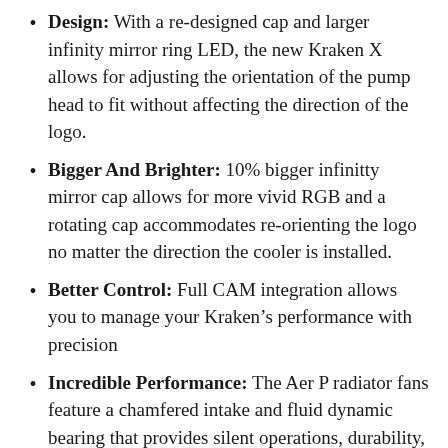Design: With a re-designed cap and larger infinity mirror ring LED, the new Kraken X allows for adjusting the orientation of the pump head to fit without affecting the direction of the logo.
Bigger And Brighter: 10% bigger infinitty mirror cap allows for more vivid RGB and a rotating cap accommodates re-orienting the logo no matter the direction the cooler is installed.
Better Control: Full CAM integration allows you to manage your Kraken's performance with precision
Incredible Performance: The Aer P radiator fans feature a chamfered intake and fluid dynamic bearing that provides silent operations, durability, and powerful cooling performance.
Simple Installation: Fine nylon mesh sleeves